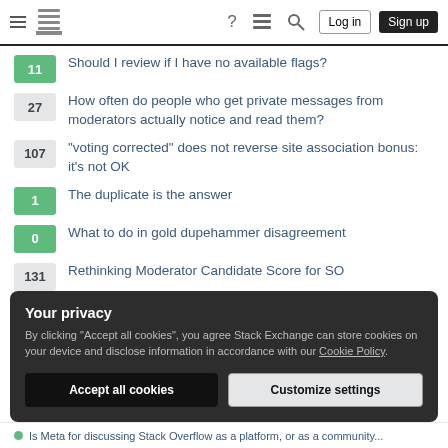Navigation bar with hamburger menu, Stack Exchange logo, help icon, chat icon, search icon, Log in button, Sign up button
11 — Should I review if I have no available flags?
27 — How often do people who get private messages from moderators actually notice and read them?
107 — "voting corrected" does not reverse site association bonus: it's not OK
1 — The duplicate is the answer
0 — What to do in gold dupehammer disagreement
131 — Rethinking Moderator Candidate Score for SO
Your privacy
By clicking "Accept all cookies", you agree Stack Exchange can store cookies on your device and disclose information in accordance with our Cookie Policy.
Accept all cookies | Customize settings